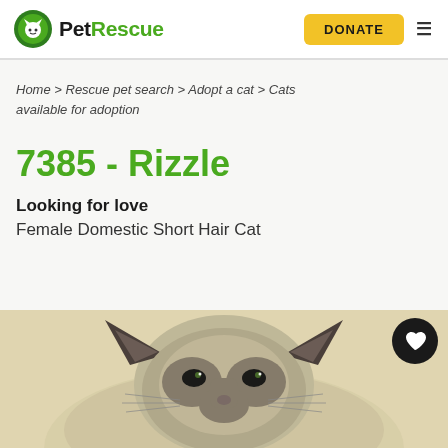PetRescue | DONATE
Home > Rescue pet search > Adopt a cat > Cats available for adoption
7385 - Rizzle
Looking for love
Female Domestic Short Hair Cat
[Figure (photo): Photo of a Siamese-coloured domestic short hair cat (Rizzle), showing the top of the head and ears against a beige background.]